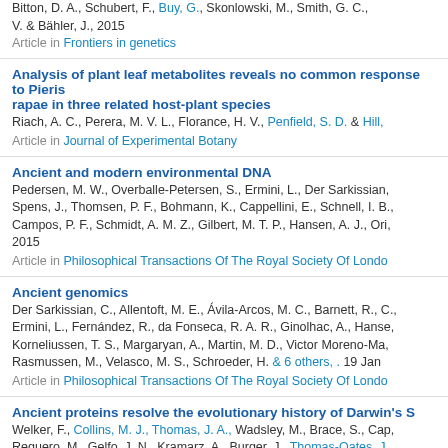Bitton, D. A., Schubert, F., Buy, G., Skonlowski, M., Smith, G. C., V. & Bähler, J., 2015
Article in Frontiers in genetics
Analysis of plant leaf metabolites reveals no common response to Pieris rapae in three related host-plant species
Riach, A. C., Perera, M. V. L., Florance, H. V., Penfield, S. D. & Hill,
Article in Journal of Experimental Botany
Ancient and modern environmental DNA
Pedersen, M. W., Overballe-Petersen, S., Ermini, L., Der Sarkissian, Spens, J., Thomsen, P. F., Bohmann, K., Cappellini, E., Schnell, I. B., Campos, P. F., Schmidt, A. M. Z., Gilbert, M. T. P., Hansen, A. J., Ori, 2015
Article in Philosophical Transactions Of The Royal Society Of London
Ancient genomics
Der Sarkissian, C., Allentoft, M. E., Ávila-Arcos, M. C., Barnett, R., C., Ermini, L., Fernández, R., da Fonseca, R. A. R., Ginolhac, A., Hansen, Korneliussen, T. S., Margaryan, A., Martin, M. D., Victor Moreno-Ma, Rasmussen, M., Velasco, M. S., Schroeder, H. & 6 others, . 19 Jan
Article in Philosophical Transactions Of The Royal Society Of London
Ancient proteins resolve the evolutionary history of Darwin's S
Welker, F., Collins, M. J., Thomas, J. A., Wadsley, M., Brace, S., Cap, Reguero, M., Gelfo, J. N., Kramarz, A., Burger, J., Thomas-Oates, J., Rowsell, K., Porter, D. M., Kessler, B., Fischer, R., Baessmann, C., 2015
Article in